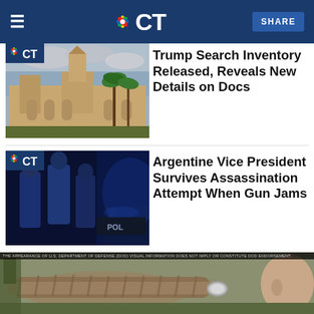NBC CT
[Figure (photo): Mar-a-Lago exterior with palm trees and cloudy sky]
Trump Search Inventory Released, Reveals New Details on Docs
[Figure (photo): People in blue jackets at night near police vehicles]
Argentine Vice President Survives Assassination Attempt When Gun Jams
[Figure (photo): Military personnel close-up with equipment]
THE APPEARANCE OF U.S. DEPARTMENT OF DEFENSE (DOD) VISUAL INFORMATION DOES NOT IMPLY OR CONSTITUTE DOD ENDORSEMENT.